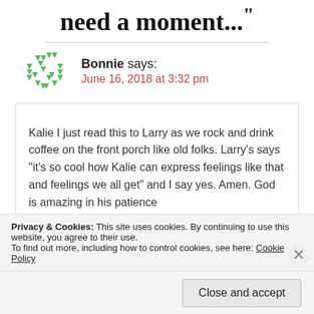need a moment…”
Bonnie says:
June 16, 2018 at 3:32 pm
Kalie I just read this to Larry as we rock and drink coffee on the front porch like old folks. Larry’s says “it’s so cool how Kalie can express feelings like that and feelings we all get” and I say yes. Amen. God is amazing in his patience
Privacy & Cookies: This site uses cookies. By continuing to use this website, you agree to their use.
To find out more, including how to control cookies, see here: Cookie Policy
Close and accept